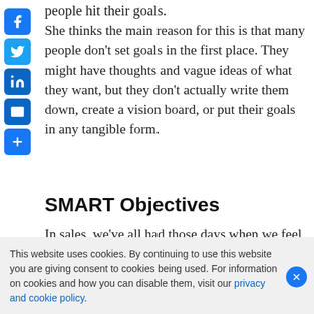people hit their goals.
[Figure (other): Social media sharing sidebar with Facebook, Twitter, LinkedIn, Email, and Share icons]
She thinks the main reason for this is that many people don’t set goals in the first place. They might have thoughts and vague ideas of what they want, but they don’t actually write them down, create a vision board, or put their goals in any tangible form.
SMART Objectives
In sales, we’ve all had those days when we feel that it’s all gone to hell and stop believing that we’re ever going to be able to hit our targets. On days like that, when you don’t feel like “smashing
This website uses cookies. By continuing to use this website you are giving consent to cookies being used. For information on cookies and how you can disable them, visit our privacy and cookie policy.